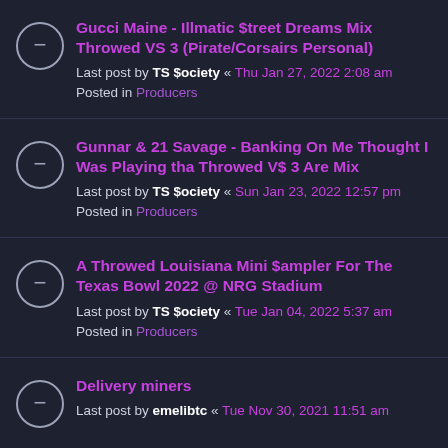Gucci Maine - Illmatic $treet Dreams Mix Throwed VS 3 (Pirate/Corsairs Personal)
Last post by TS $ociety « Thu Jan 27, 2022 2:08 am
Posted in Producers
Gunnar & 21 Savage - Banking On Me Thought I Was Playing tha Throwed V$ 3 Are Mix
Last post by TS $ociety « Sun Jan 23, 2022 12:57 pm
Posted in Producers
A Throwed Louisiana Mini $ampler For The Texas Bowl 2022 @ NRG Stadium
Last post by TS $ociety « Tue Jan 04, 2022 5:37 am
Posted in Producers
Delivery miners
Last post by emelibtc « Tue Nov 30, 2021 11:51 am